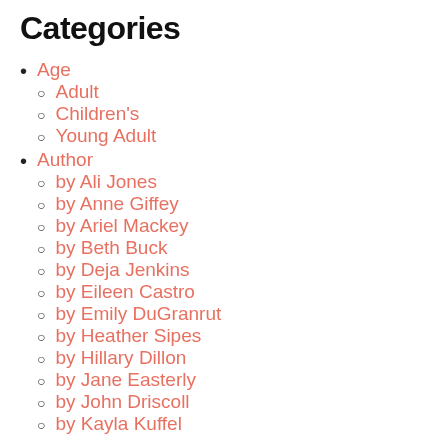Categories
Age
Adult
Children's
Young Adult
Author
by Ali Jones
by Anne Giffey
by Ariel Mackey
by Beth Buck
by Deja Jenkins
by Eileen Castro
by Emily DuGranrut
by Heather Sipes
by Hillary Dillon
by Jane Easterly
by John Driscoll
by Kayla Kuffel